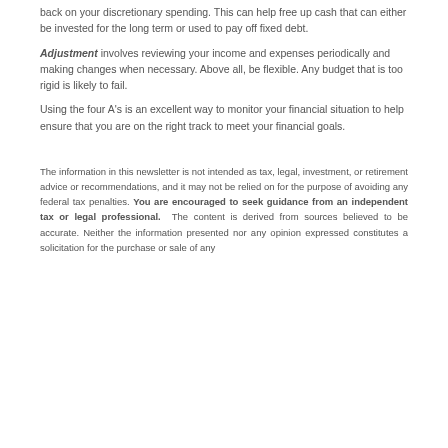back on your discretionary spending. This can help free up cash that can either be invested for the long term or used to pay off fixed debt.
Adjustment involves reviewing your income and expenses periodically and making changes when necessary. Above all, be flexible. Any budget that is too rigid is likely to fail.
Using the four A's is an excellent way to monitor your financial situation to help ensure that you are on the right track to meet your financial goals.
The information in this newsletter is not intended as tax, legal, investment, or retirement advice or recommendations, and it may not be relied on for the purpose of avoiding any federal tax penalties. You are encouraged to seek guidance from an independent tax or legal professional. The content is derived from sources believed to be accurate. Neither the information presented nor any opinion expressed constitutes a solicitation for the purchase or sale of any